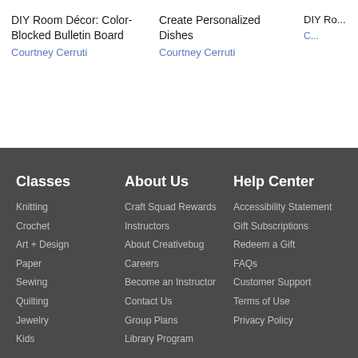DIY Room Décor: Color-Blocked Bulletin Board
Courtney Cerruti
Create Personalized Dishes
Courtney Cerruti
DIY Ro...
C...
Classes
Knitting
Crochet
Art + Design
Paper
Sewing
Quilting
Jewelry
Kids
About Us
Craft Squad Rewards
Instructors
About Creativebug
Careers
Become an Instructor
Contact Us
Group Plans
Library Program
Help Center
Accessibility Statement
Gift Subscriptions
Redeem a Gift
FAQs
Customer Support
Terms of Use
Privacy Policy